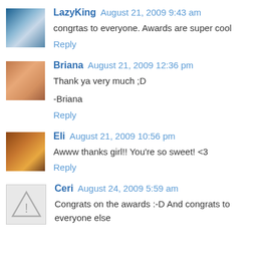LazyKing August 21, 2009 9:43 am
congrtas to everyone. Awards are super cool
Reply
Briana August 21, 2009 12:36 pm
Thank ya very much ;D

-Briana
Reply
Eli August 21, 2009 10:56 pm
Awww thanks girl!! You're so sweet! <3
Reply
Ceri August 24, 2009 5:59 am
Congrats on the awards :-D And congrats to everyone else